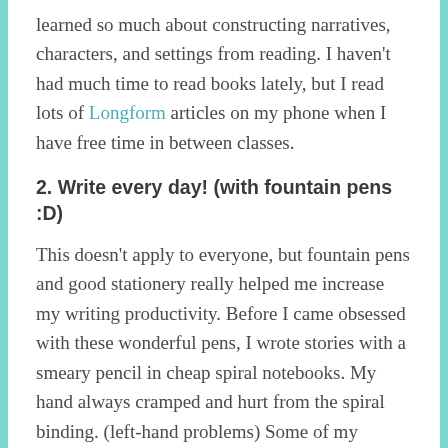learned so much about constructing narratives, characters, and settings from reading. I haven't had much time to read books lately, but I read lots of Longform articles on my phone when I have free time in between classes.
2. Write every day! (with fountain pens :D)
This doesn't apply to everyone, but fountain pens and good stationery really helped me increase my writing productivity. Before I came obsessed with these wonderful pens, I wrote stories with a smeary pencil in cheap spiral notebooks. My hand always cramped and hurt from the spiral binding. (left-hand problems) Some of my earliest notebooks are illegible because of